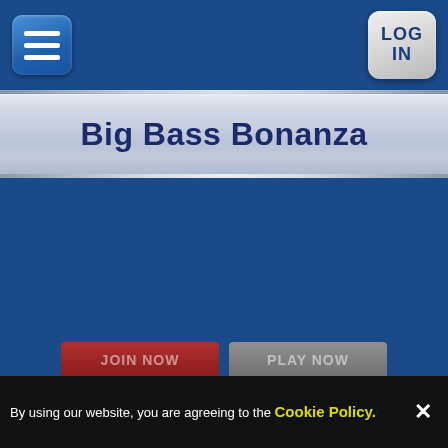[Figure (screenshot): Navigation bar with hamburger menu icon on left and LOG IN button on right, on a dark blue background]
Big Bass Bonanza
[Figure (screenshot): JOIN NOW and PLAY NOW buttons partially visible at bottom of main content area]
By using our website, you are agreeing to the Cookie Policy.